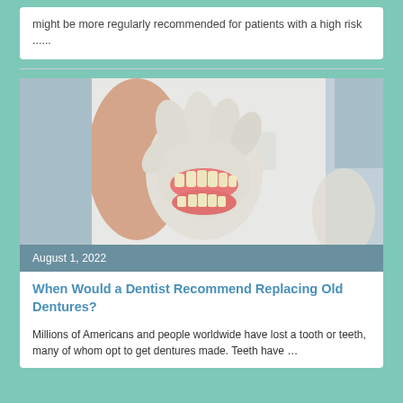might be more regularly recommended for patients with a high risk ......
[Figure (photo): A person wearing white medical gloves and a white shirt holding a full set of dentures (dental prosthesis) in their gloved hand.]
August 1, 2022
When Would a Dentist Recommend Replacing Old Dentures?
Millions of Americans and people worldwide have lost a tooth or teeth, many of whom opt to get dentures made. Teeth have …